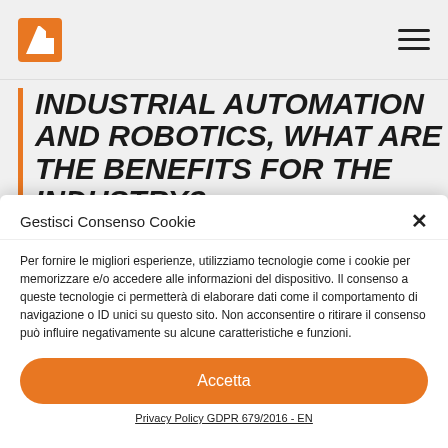Logo and navigation menu
INDUSTRIAL AUTOMATION AND ROBOTICS, WHAT ARE THE BENEFITS FOR THE INDUSTRY?
Gestisci Consenso Cookie
Per fornire le migliori esperienze, utilizziamo tecnologie come i cookie per memorizzare e/o accedere alle informazioni del dispositivo. Il consenso a queste tecnologie ci permetterà di elaborare dati come il comportamento di navigazione o ID unici su questo sito. Non acconsentire o ritirare il consenso può influire negativamente su alcune caratteristiche e funzioni.
Accetta
Privacy Policy GDPR 679/2016 - EN